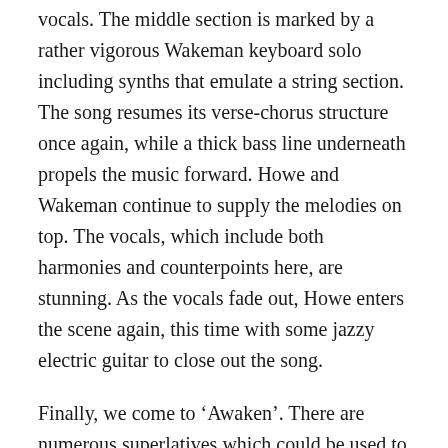vocals.  The middle section is marked by a rather vigorous Wakeman keyboard solo including synths that emulate a string section.  The song resumes its verse-chorus structure once again, while a thick bass line underneath propels the music forward.  Howe and Wakeman continue to supply the melodies on top.  The vocals, which include both harmonies and counterpoints here, are stunning.  As the vocals fade out, Howe enters the scene again, this time with some jazzy electric guitar to close out the song.
Finally, we come to ‘Awaken’.  There are numerous superlatives which could be used to describe this piece.  All of them are inadequate.  Somebody will have to invent new ones.